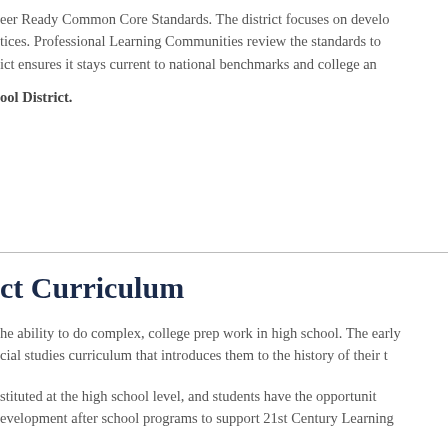eer Ready Common Core Standards. The district focuses on developing best practices. Professional Learning Communities review the standards to ensure the district ensures it stays current to national benchmarks and college and
ool District.
ct Curriculum
he ability to do complex, college prep work in high school. The early cial studies curriculum that introduces them to the history of their t
stituted at the high school level, and students have the opportunity development after school programs to support 21st Century Learning